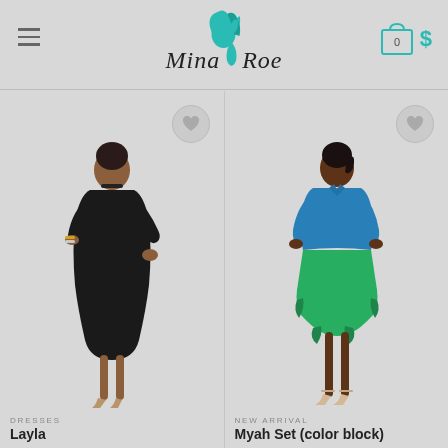[Figure (logo): Mina Roe fashion brand logo with teal hair silhouette above the brand name in script font]
[Figure (photo): Fashion e-commerce product page showing two female models. Left model wears a black off-shoulder long-sleeve bodycon dress with heels. Right model wears a blue satin shirt with green ruffled mini skirt and heels.]
DRESSES
Layla
NEW ARRIVAL
Myah Set (color block)